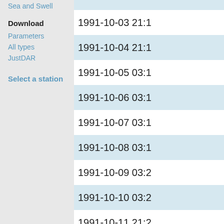Sea and Swell
Download
Parameters
All types
JustDAR
Select a station
| Date/Time |
| --- |
| 1991-10-03 21:1 |
| 1991-10-04 21:1 |
| 1991-10-05 03:1 |
| 1991-10-06 03:1 |
| 1991-10-07 03:1 |
| 1991-10-08 03:1 |
| 1991-10-09 03:2 |
| 1991-10-10 03:2 |
| 1991-10-11 21:2 |
| 1991-10-12 03:2 |
| 1991-10-13 09:2 |
| 1991-10-14 03:2 |